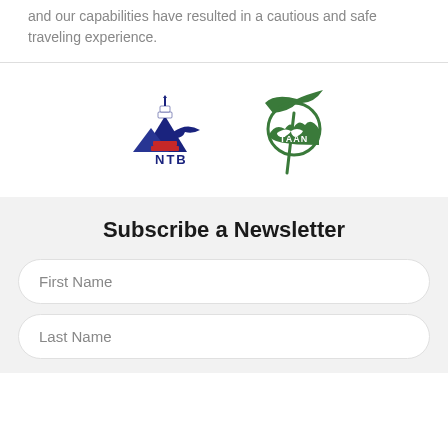and our capabilities have resulted in a cautious and safe traveling experience.
[Figure (logo): NTB (Nepal Tourism Board) logo with stupa, mountains and bird in blue, red, and white]
[Figure (logo): TAAN (Trekking Agents Association of Nepal) logo, green circular with ice axe]
Subscribe a Newsletter
First Name
Last Name